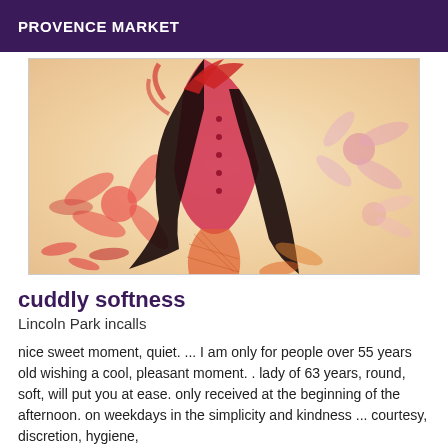PROVENCE MARKET
[Figure (illustration): Artistic illustration of a woman with long black hair wearing a red corset, surrounded by large red and pink floral elements on a warm beige background.]
cuddly softness
Lincoln Park incalls
nice sweet moment, quiet. ... I am only for people over 55 years old wishing a cool, pleasant moment. . lady of 63 years, round, soft, will put you at ease. only received at the beginning of the afternoon. on weekdays in the simplicity and kindness ... courtesy, discretion, hygiene,